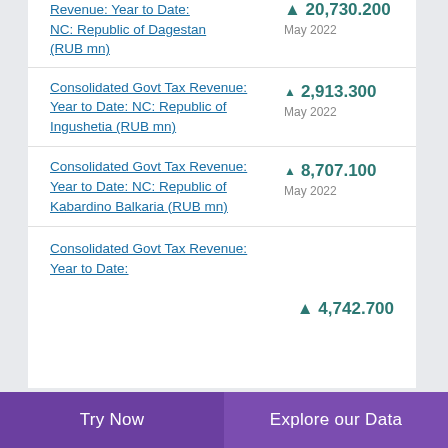Consolidated Govt Tax Revenue: Year to Date: NC: Republic of Dagestan (RUB mn)
Consolidated Govt Tax Revenue: Year to Date: NC: Republic of Ingushetia (RUB mn)
Consolidated Govt Tax Revenue: Year to Date: NC: Republic of Kabardino Balkaria (RUB mn)
Consolidated Govt Tax Revenue: Year to Date:
Try Now | Explore our Data